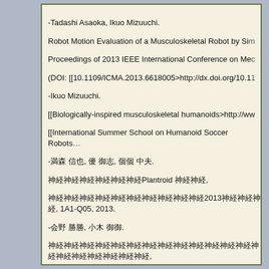-Tadashi Asaoka, Ikuo Mizuuchi.
Robot Motion Evaluation of a Musculoskeletal Robot by Si...
Proceedings of 2013 IEEE International Conference on Me...
(DOI: [[10.1109/ICMA.2013.6618005>http://dx.doi.org/10.1...
-Ikuo Mizuuchi.
[[Biologically-inspired musculoskeletal humanoids>http://ww...
[[International Summer School on Humanoid Soccer Robots...
-[Japanese] [Japanese] [Japanese] [Japanese].
[Japanese text]Plantroid [Japanese],
[Japanese text]2013[Japanese], 1A1-Q05, 2013.
-[Japanese] [Japanese] [Japanese] [Japanese].
[Japanese text],
[Japanese text]2013[Japanese], 1A2-J01, 2013.
-[Japanese] [Japanese] [Japanese] [Japanese].
[Japanese text] ,
[Japanese text]2013[Japanese], 1P1-H09, 2013.
-[Japanese] [Japanese] [Japanese] [Japanese].
[Japanese text],
[Japanese text]2013[Japanese], 1P1-K03, 2013.
-[Japanese] [Japanese], [Japanese] [Japanese].
[Japanese text] ,
[Japanese text]2013[Japanese], 2A2-D11, 2013.